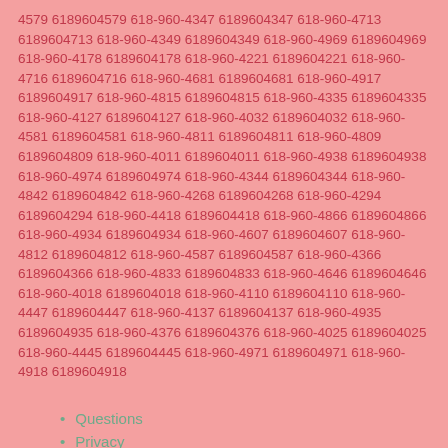4579 6189604579 618-960-4347 6189604347 618-960-4713 6189604713 618-960-4349 6189604349 618-960-4969 6189604969 618-960-4178 6189604178 618-960-4221 6189604221 618-960-4716 6189604716 618-960-4681 6189604681 618-960-4917 6189604917 618-960-4815 6189604815 618-960-4335 6189604335 618-960-4127 6189604127 618-960-4032 6189604032 618-960-4581 6189604581 618-960-4811 6189604811 618-960-4809 6189604809 618-960-4011 6189604011 618-960-4938 6189604938 618-960-4974 6189604974 618-960-4344 6189604344 618-960-4842 6189604842 618-960-4268 6189604268 618-960-4294 6189604294 618-960-4418 6189604418 618-960-4866 6189604866 618-960-4934 6189604934 618-960-4607 6189604607 618-960-4812 6189604812 618-960-4587 6189604587 618-960-4366 6189604366 618-960-4833 6189604833 618-960-4646 6189604646 618-960-4018 6189604018 618-960-4110 6189604110 618-960-4447 6189604447 618-960-4137 6189604137 618-960-4935 6189604935 618-960-4376 6189604376 618-960-4025 6189604025 618-960-4445 6189604445 618-960-4971 6189604971 618-960-4918 6189604918
Questions
Privacy
Do not sell my info (CA residents)
Terms